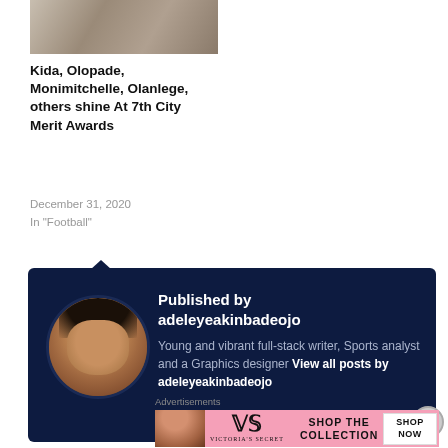[Figure (photo): Thumbnail photo of people at an event]
Kida, Olopade, Monimitchelle, Olanlege, others shine At 7th City Merit Awards
December 31, 2020
In "Football"
[Figure (infographic): Author bio box with dark navy background. Shows avatar photo of adeleyeakinbadeojo. Text: Published by adeleyeakinbadeojo — Young and vibrant full-stack writer, Sports analyst and a Graphics designer View all posts by adeleyeakinbadeojo]
Advertisements
[Figure (photo): Victoria's Secret advertisement banner with pink background, model photo, VS logo, SHOP THE COLLECTION text, and SHOP NOW button]